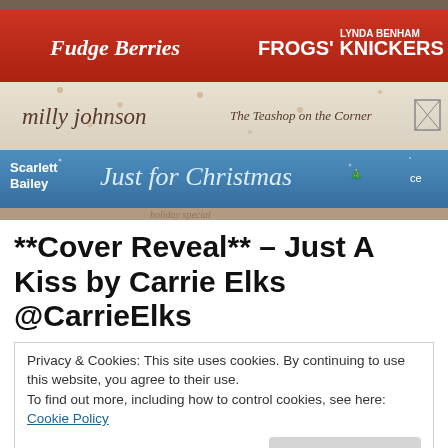[Figure (photo): Stack of books photographed from the side showing their spines: 'Fudge Berries & Frogs' Knickers' by Lynda Benham (red spine), 'The Teashop on the Corner' by Milly Johnson (cream/white spine), 'Just for Christmas' by Scarlett Bailey (blue spine), and a partially visible fourth book at the bottom.]
**Cover Reveal** – Just A Kiss by Carrie Elks @CarrieElks
Privacy & Cookies: This site uses cookies. By continuing to use this website, you agree to their use.
To find out more, including how to control cookies, see here: Cookie Policy
Close and accept
I am so pleased to be involved in the cover reveal for